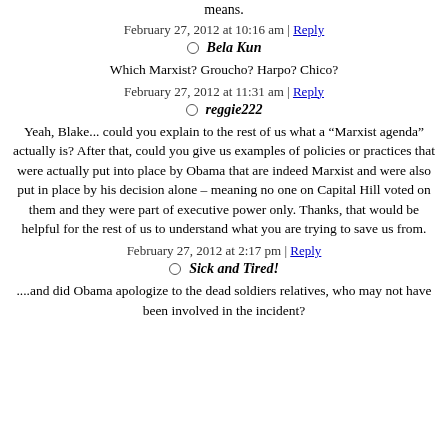means.
February 27, 2012 at 10:16 am | Reply
Bela Kun
Which Marxist? Groucho? Harpo? Chico?
February 27, 2012 at 11:31 am | Reply
reggie222
Yeah, Blake... could you explain to the rest of us what a "Marxist agenda" actually is? After that, could you give us examples of policies or practices that were actually put into place by Obama that are indeed Marxist and were also put in place by his decision alone – meaning no one on Capital Hill voted on them and they were part of executive power only. Thanks, that would be helpful for the rest of us to understand what you are trying to save us from.
February 27, 2012 at 2:17 pm | Reply
Sick and Tired!
....and did Obama apologize to the dead soldiers relatives, who may not have been involved in the incident?